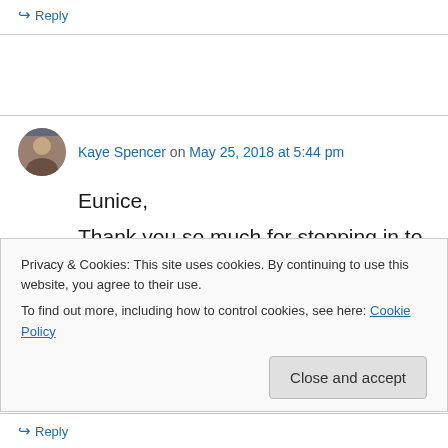↳ Reply
Kaye Spencer on May 25, 2018 at 5:44 pm
Eunice,

Thank you so much for stopping in to comment.

Twenty years ago, I'd have seriously

contemplated gathering a group of hearty, hardy
Privacy & Cookies: This site uses cookies. By continuing to use this website, you agree to their use.
To find out more, including how to control cookies, see here: Cookie Policy
Close and accept
↳ Reply